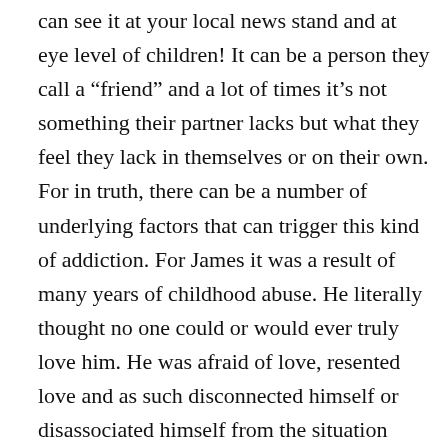can see it at your local news stand and at eye level of children! It can be a person they call a “friend” and a lot of times it’s not something their partner lacks but what they feel they lack in themselves or on their own. For in truth, there can be a number of underlying factors that can trigger this kind of addiction. For James it was a result of many years of childhood abuse. He literally thought no one could or would ever truly love him. He was afraid of love, resented love and as such disconnected himself or disassociated himself from the situation entirely on a personal level to any degree as that applies to a truly monogamous commitment, as God intended.
This is not to say he didn’t have needs, because everyone does. He just sought to fulfill his needs in what he considered to be the safest way he could, that